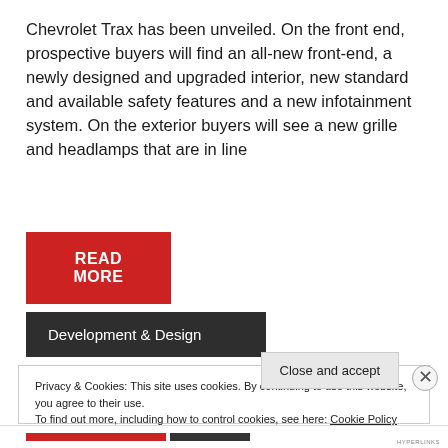Chevrolet Trax has been unveiled. On the front end, prospective buyers will find an all-new front-end, a newly designed and upgraded interior, new standard and available safety features and a new infotainment system. On the exterior buyers will see a new grille and headlamps that are in line
READ MORE
Development & Design
Privacy & Cookies: This site uses cookies. By continuing to use this website, you agree to their use.
To find out more, including how to control cookies, see here: Cookie Policy
Close and accept